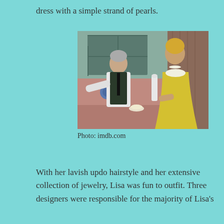dress with a simple strand of pearls.
[Figure (photo): A color TV still showing a man in a dark vest and white shirt seated at a kitchen counter, speaking with a woman in a yellow sleeveless dress and pearl necklace with an updo hairstyle.]
Photo: imdb.com
With her lavish updo hairstyle and her extensive collection of jewelry, Lisa was fun to outfit. Three designers were responsible for the majority of Lisa's